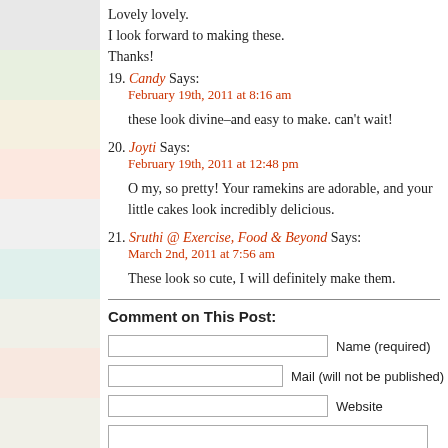Lovely lovely.
I look forward to making these.
Thanks!
19. Candy Says:
February 19th, 2011 at 8:16 am
these look divine–and easy to make. can't wait!
20. Joyti Says:
February 19th, 2011 at 12:48 pm
O my, so pretty! Your ramekins are adorable, and your little cakes look incredibly delicious.
21. Sruthi @ Exercise, Food & Beyond Says:
March 2nd, 2011 at 7:56 am
These look so cute, I will definitely make them.
Comment on This Post:
Name (required)
Mail (will not be published) (required)
Website